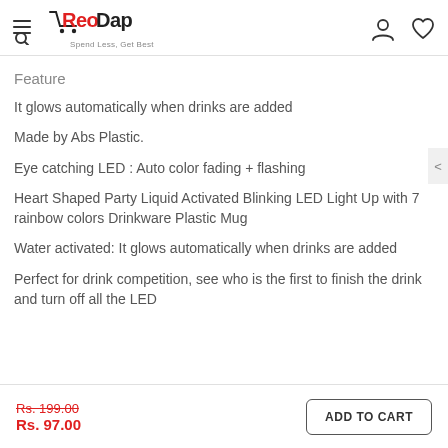DeoDap — Spend Less, Get Best
Feature
It glows automatically when drinks are added
Made by Abs Plastic.
Eye catching LED : Auto color fading + flashing
Heart Shaped Party Liquid Activated Blinking LED Light Up with 7 rainbow colors Drinkware Plastic Mug
Water activated: It glows automatically when drinks are added
Perfect for drink competition, see who is the first to finish the drink and turn off all the LED
Rs. 199.00 / Rs. 97.00 — ADD TO CART